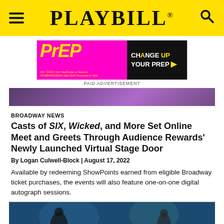PLAYBILL
[Figure (photo): Playbill advertisement for PrEP medication — CHANGe UP YOUR PrEP — ViiV Healthcare]
PAID ADVERTISEMENT
[Figure (photo): Concert or theatrical performance stage image with purple lighting]
BROADWAY NEWS
Casts of SIX, Wicked, and More Set Online Meet and Greets Through Audience Rewards' Newly Launched Virtual Stage Door
By Logan Culwell-Block | August 17, 2022
Available by redeeming ShowPoints earned from eligible Broadway ticket purchases, the events will also feature one-on-one digital autograph sessions.
[Figure (photo): Performance photo from a Broadway show with teal/blue-green lighting]